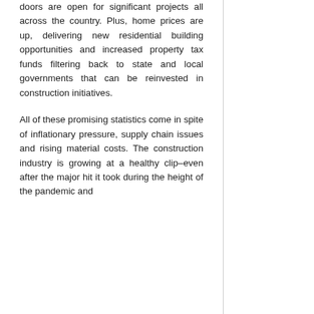doors are open for significant projects all across the country. Plus, home prices are up, delivering new residential building opportunities and increased property tax funds filtering back to state and local governments that can be reinvested in construction initiatives.
All of these promising statistics come in spite of inflationary pressure, supply chain issues and rising material costs. The construction industry is growing at a healthy clip–even after the major hit it took during the height of the pandemic and